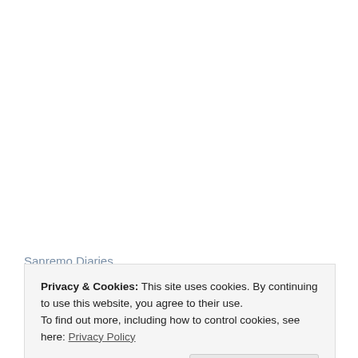Privacy & Cookies: This site uses cookies. By continuing to use this website, you agree to their use.
To find out more, including how to control cookies, see here: Privacy Policy
Close and accept
distractions in the rest of my life, but I'm hoping to write more